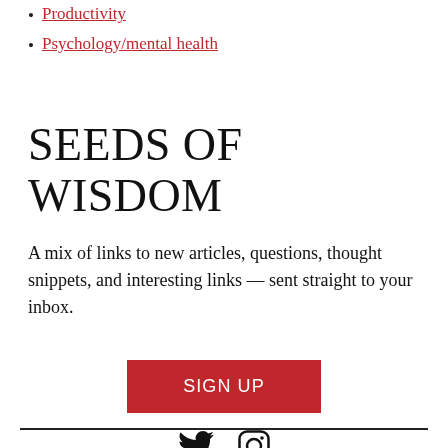Productivity
Psychology/mental health
SEEDS OF WISDOM
A mix of links to new articles, questions, thought snippets, and interesting links — sent straight to your inbox.
[Figure (other): Red SIGN UP button]
Twitter and Instagram social media icons